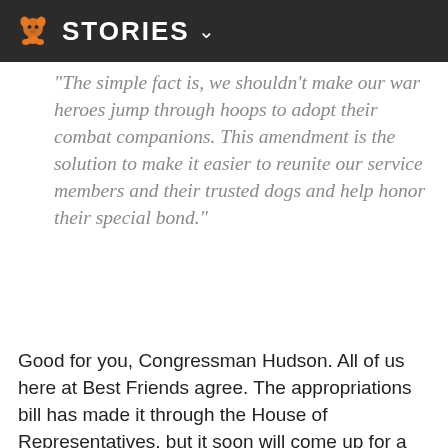STORIES
"The simple fact is, we shouldn't make our war heroes jump through hoops to adopt their combat companions. This amendment is the solution to make it easier to reunite our service members and their trusted dogs and help honor their special bond."
Good for you, Congressman Hudson. All of us here at Best Friends agree. The appropriations bill has made it through the House of Representatives, but it soon will come up for a Senate vote. The portion containing the amendment is section 594,